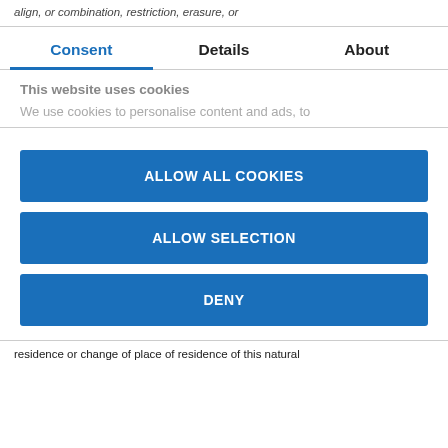align, or combination, restriction, erasure, or
Consent | Details | About (tab bar)
This website uses cookies
We use cookies to personalise content and ads, to
ALLOW ALL COOKIES
ALLOW SELECTION
DENY
residence or change of place of residence of this natural